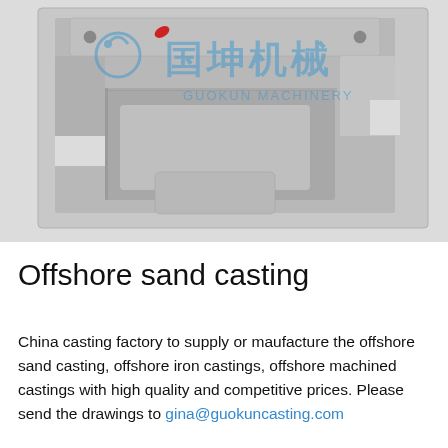[Figure (photo): Photo of a grey metal offshore sand casting component, machined and cast, with a company watermark overlay reading '国坤机械 GUOKUN MACHINERY' in blue Chinese characters and English text, with a small red element visible on the casting.]
Offshore sand casting
China casting factory to supply or maufacture the offshore sand casting, offshore iron castings, offshore machined castings with high quality and competitive prices. Please send the drawings to gina@guokuncasting.com